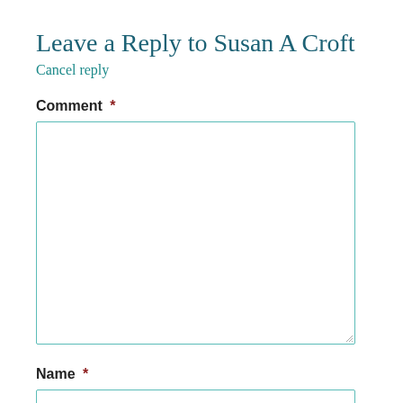Leave a Reply to Susan A Croft
Cancel reply
Comment *
[Figure (other): Large empty comment text area with teal border and resize handle]
Name *
[Figure (other): Single-line text input with teal border for Name field]